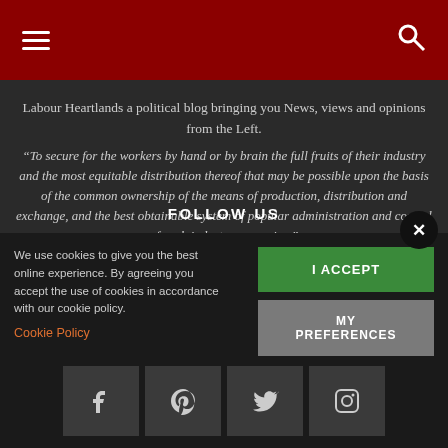Navigation bar with hamburger menu and search icon
Labour Heartlands a political blog bringing you News, views and opinions from the Left.
“To secure for the workers by hand or by brain the full fruits of their industry and the most equitable distribution thereof that may be possible upon the basis of the common ownership of the means of production, distribution and exchange, and the best obtainable system of popular administration and control of each industry or service.”
Contact us: contact@labourheartlands.com
FOLLOW US
We use cookies to give you the best online experience. By agreeing you accept the use of cookies in accordance with our cookie policy.
Cookie Policy
I ACCEPT
MY PREFERENCES